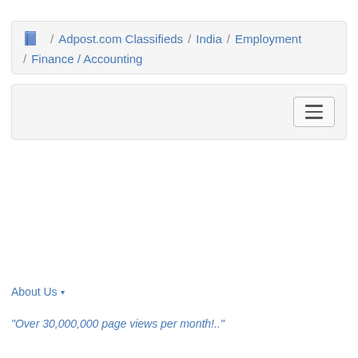Adpost.com Classifieds / India / Employment / Finance / Accounting
[Figure (screenshot): Navigation bar with hamburger menu button on the right]
About Us ▾
"Over 30,000,000 page views per month!.."